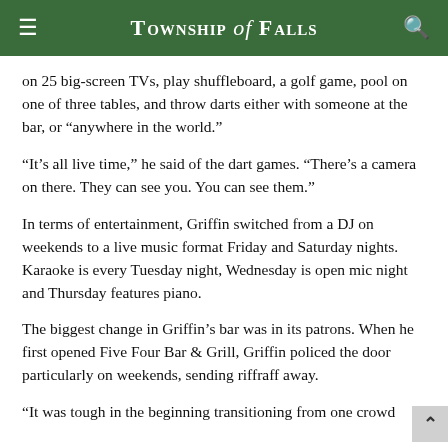Township of Falls
on 25 big-screen TVs, play shuffleboard, a golf game, pool on one of three tables, and throw darts either with someone at the bar, or “anywhere in the world.”
“It’s all live time,” he said of the dart games. “There’s a camera on there. They can see you. You can see them.”
In terms of entertainment, Griffin switched from a DJ on weekends to a live music format Friday and Saturday nights. Karaoke is every Tuesday night, Wednesday is open mic night and Thursday features piano.
The biggest change in Griffin’s bar was in its patrons. When he first opened Five Four Bar & Grill, Griffin policed the door particularly on weekends, sending riffraff away.
“It was tough in the beginning transitioning from one crowd…